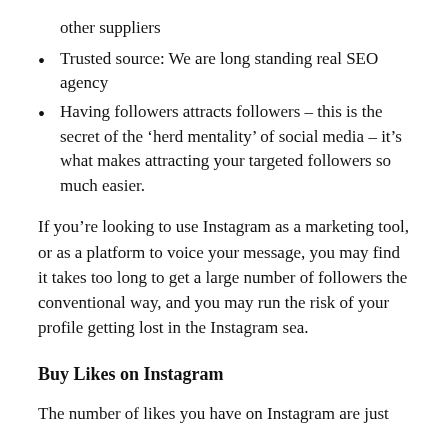other suppliers
Trusted source: We are long standing real SEO agency
Having followers attracts followers – this is the secret of the 'herd mentality' of social media – it's what makes attracting your targeted followers so much easier.
If you're looking to use Instagram as a marketing tool, or as a platform to voice your message, you may find it takes too long to get a large number of followers the conventional way, and you may run the risk of your profile getting lost in the Instagram sea.
Buy Likes on Instagram
The number of likes you have on Instagram are just